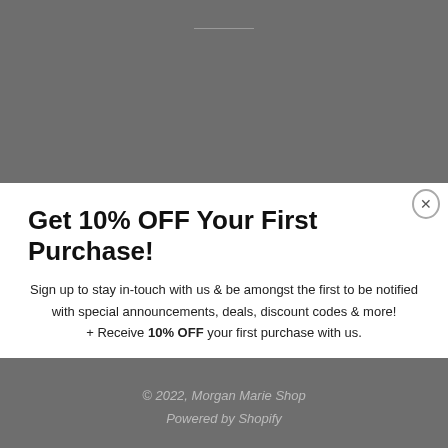Get 10% OFF Your First Purchase!
Sign up to stay in-touch with us & be amongst the first to be notified with special announcements, deals, discount codes & more! + Receive 10% OFF your first purchase with us.
Enter your email address
Subscribe
© 2022, Morgan Marie Shop
Powered by Shopify